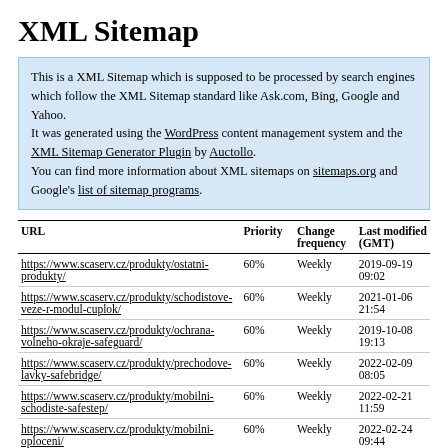XML Sitemap
This is a XML Sitemap which is supposed to be processed by search engines which follow the XML Sitemap standard like Ask.com, Bing, Google and Yahoo.
It was generated using the WordPress content management system and the XML Sitemap Generator Plugin by Auctollo.
You can find more information about XML sitemaps on sitemaps.org and Google's list of sitemap programs.
| URL | Priority | Change frequency | Last modified (GMT) |
| --- | --- | --- | --- |
| https://www.scaserv.cz/produkty/ostatni-produkty/ | 60% | Weekly | 2019-09-19 09:02 |
| https://www.scaserv.cz/produkty/schodistove-veze-r-modul-cuplok/ | 60% | Weekly | 2021-01-06 21:54 |
| https://www.scaserv.cz/produkty/ochrana-volneho-okraje-safeguard/ | 60% | Weekly | 2019-10-08 19:13 |
| https://www.scaserv.cz/produkty/prechodove-lavky-safebridge/ | 60% | Weekly | 2022-02-09 08:05 |
| https://www.scaserv.cz/produkty/mobilni-schodiste-safestep/ | 60% | Weekly | 2022-02-21 11:59 |
| https://www.scaserv.cz/produkty/mobilni-oploceni/ | 60% | Weekly | 2022-02-24 09:44 |
| https://www.scaserv.cz/produkty/nosnikove-... | 60% | Weekly | 2021-11-10 ... |